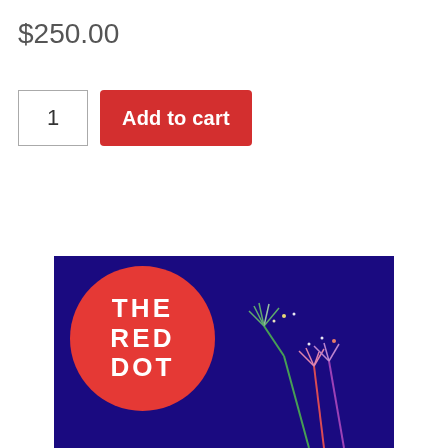$250.00
1
Add to cart
[Figure (logo): The Red Dot logo: white bold text 'THE RED DOT' arranged on a red circle, on a dark navy/blue background with fireworks visible on the right side]